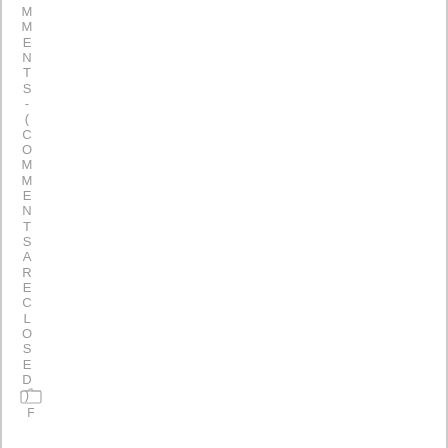MMENTS-(COMMENTS ARE ENCLOSED)
[Figure (other): Folder icon with label F]